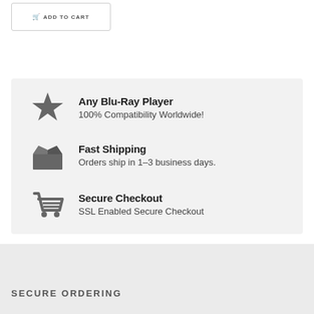[Figure (other): Add to Cart button with shopping cart icon]
Any Blu-Ray Player
100% Compatibility Worldwide!
Fast Shipping
Orders ship in 1-3 business days.
Secure Checkout
SSL Enabled Secure Checkout
SECURE ORDERING